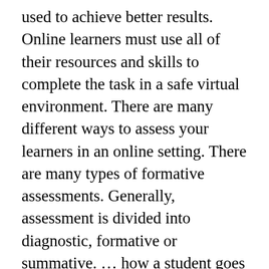used to achieve better results. Online learners must use all of their resources and skills to complete the task in a safe virtual environment. There are many different ways to assess your learners in an online setting. There are many types of formative assessments. Generally, assessment is divided into diagnostic, formative or summative. … how a student goes about thinking through problems and may highlight student obstacles when efficiently solving different types of problems. process of measuring and documenting what students have learned This format allows you to set up a more competitive format for testing that includes many different types of media and question